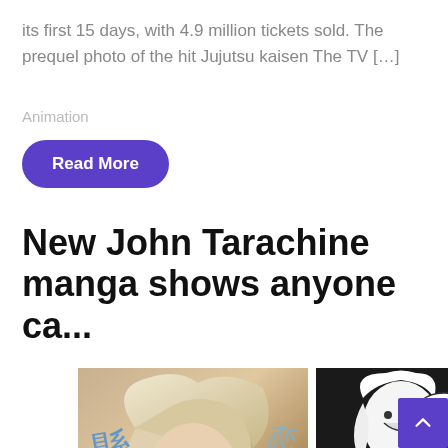its first 15 days, with 4.9 million tickets sold. The prequel photo of the hit Jujutsu kaisen The TV […]
Animation
Read More
New John Tarachine manga shows anyone ca...
[Figure (illustration): Two manga/anime-style images side by side: left shows a colorful illustration of a character with white/silver hair laughing, with blue Japanese kanji overlaid; right shows a black-and-white manga panel of a character with white hair and a speech bubble with Japanese text, and another figure below.]
[Figure (other): Purple scroll-to-top button with upward caret arrow, positioned bottom right.]